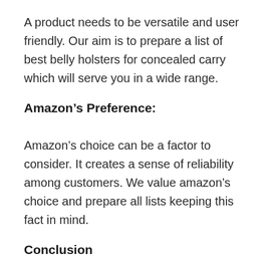A product needs to be versatile and user friendly. Our aim is to prepare a list of best belly holsters for concealed carry which will serve you in a wide range.
Amazon’s Preference:
Amazon’s choice can be a factor to consider. It creates a sense of reliability among customers. We value amazon’s choice and prepare all lists keeping this fact in mind.
Conclusion
Let’s be honest with your feeling and all of us